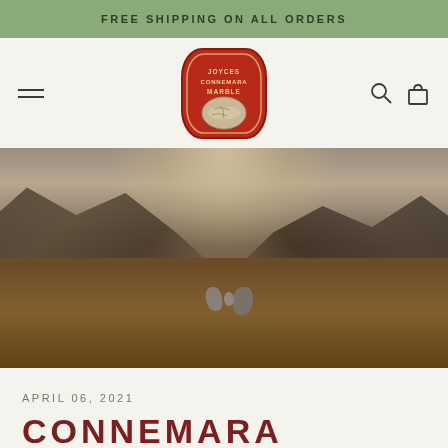FREE SHIPPING ON ALL ORDERS
[Figure (logo): Joyces Connemara Marble oval badge logo in red with illustrated marble stone]
[Figure (photo): Dramatic misty landscape photo of the Connemara moorlands in Ireland, showing russet-brown heath, scattered large rocks, and mountain silhouettes under a hazy, glowing sky]
APRIL 06, 2021
CONNEMARA MARBLE